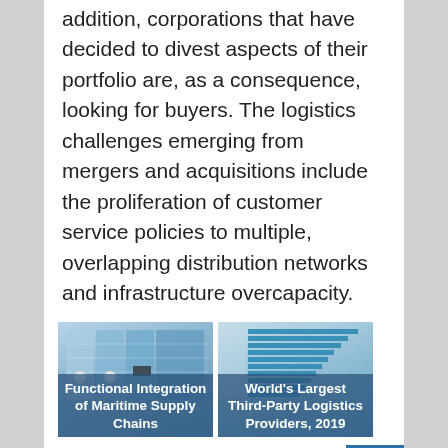addition, corporations that have decided to divest aspects of their portfolio are, as a consequence, looking for buyers. The logistics challenges emerging from mergers and acquisitions include the proliferation of customer service policies to multiple, overlapping distribution networks and infrastructure overcapacity.
[Figure (illustration): Thumbnail image titled 'Functional Integration of Maritime Supply Chains' showing a diagram with colored blocks representing maritime supply chain functions]
[Figure (bar-chart): Thumbnail image titled 'World's Largest Third-Party Logistics Providers, 2019' showing a horizontal bar chart with multiple rows of blue bars]
[Figure (schematic): Diagram showing Port Holding and Port Regionalization with FORELAND (Horizontal Integration) and HINTERLAND (Vertical Integration), including Port, Inland Port, and Terminal nodes connected by lines and arrows]